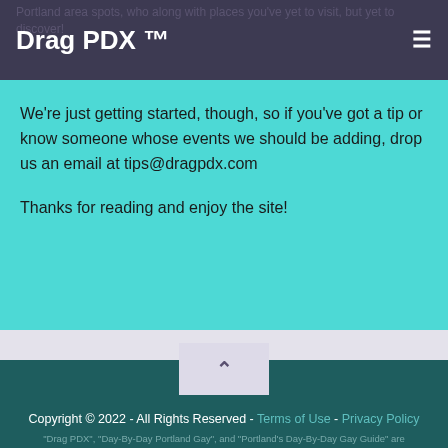Drag PDX ™
We're just getting started, though, so if you've got a tip or know someone whose events we should be adding, drop us an email at tips@dragpdx.com
Thanks for reading and enjoy the site!
Copyright © 2022 - All Rights Reserved - Terms of Use - Privacy Policy
"Drag PDX", "Day-By-Day Portland Gay", and "Portland's Day-By-Day Gay Guide" are trademarks.
DragPDX.com - Portland, Oregon